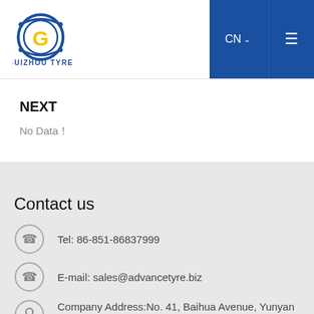[Figure (logo): Guizhou Tyre logo with circular G emblem in blue and yellow, text GUIZHOU TYRE below]
NEXT
No Data！
Contact us
Tel: 86-851-86837999
E-mail: sales@advancetyre.biz
Company Address:No. 41, Baihua Avenue, Yunyan District, Guiyang City